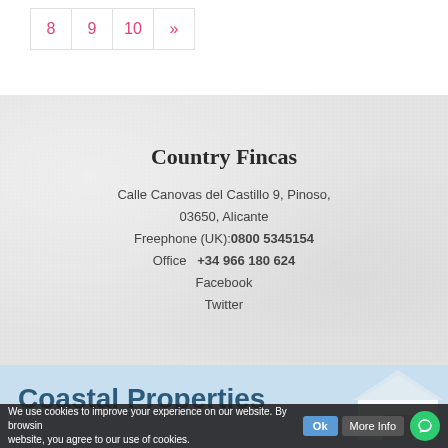| 8 | 9 | 10 | » |
Country Fincas
Calle Canovas del Castillo 9, Pinoso,
03650, Alicante
Freephone (UK):0800 5345154
Office   +34 966 180 624
Facebook
Twitter
[Figure (logo): Coastal Properties banner with building logo graphic on light blue background]
We use cookies to improve your experience on our website. By browsing website, you agree to our use of cookies.